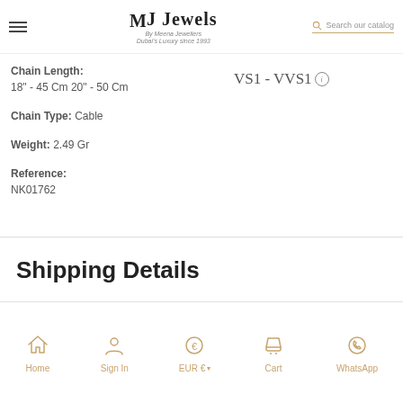MJ Jewels By Meena Jewellers Dubai's Luxury since 1993 | Search our catalog
Chain Length:
18" - 45 Cm 20" - 50 Cm
VS1 - VVS1
Chain Type: Cable
Weight: 2.49 Gr
Reference:
NK01762
Shipping Details
Home | Sign In | EUR € | Cart | WhatsApp